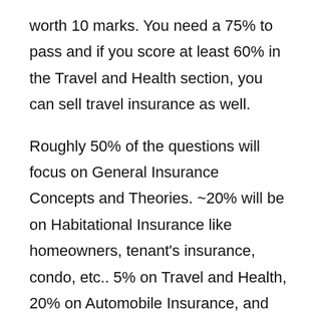worth 10 marks. You need a 75% to pass and if you score at least 60% in the Travel and Health section, you can sell travel insurance as well.
Roughly 50% of the questions will focus on General Insurance Concepts and Theories. ~20% will be on Habitational Insurance like homeowners, tenant's insurance, condo, etc.. 5% on Travel and Health, 20% on Automobile Insurance, and the 10% Case Study can cover any number of topics.
This exam is partially open book as you'll be given a pamphlet containing policy wordings and coverages for: comprehensive homeowners,